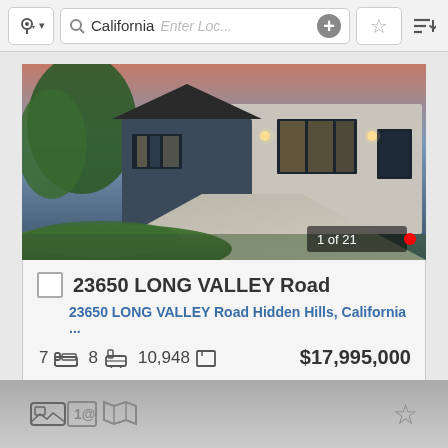California  Enter Loc...
[Figure (photo): Exterior photo of a large modern luxury home at dusk with illuminated windows, stone and dark siding facade, curved driveway, green lawn, and trees. Label: 1 of 21]
23650 LONG VALLEY Road
23650 LONG VALLEY Road Hidden Hills, California ...
7  [bed icon]  8  [bath icon]  10,948  [sqft icon]  $17,995,000
Listing Courtesy of Compass
[Photos]  [Info]  [Map]  [Favorite]